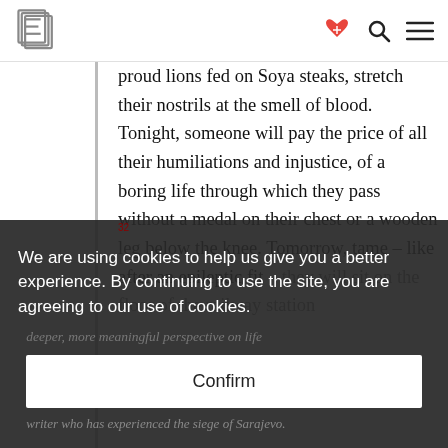E [logo] [heart-handshake icon] [search icon] [menu icon]
proud lions fed on Soya steaks, stretch their nostrils at the smell of blood. Tonight, someone will pay the price of all their humiliations and injustice, of a boring life through which they pass without a medal on their chest or a wooden leg below the knee. Tomorrow, tame – like after an epileptic fit – they will sit on the floor of the railway station
We are using cookies to help us give you a better experience. By continuing to use the site, you are agreeing to our use of cookies.
Confirm
deeper, more meaningful perspective on life
writer who has experienced the siege of Sarajevo.